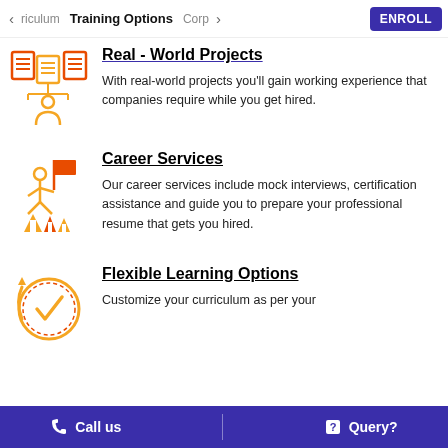< riculum   Training Options   Corp >   ENROLL
Real - World Projects
With real-world projects you'll gain working experience that companies require while you get hired.
Career Services
Our career services include mock interviews, certification assistance and guide you to prepare your professional resume that gets you hired.
Flexible Learning Options
Customize your curriculum as per your
Call us   |   Query?